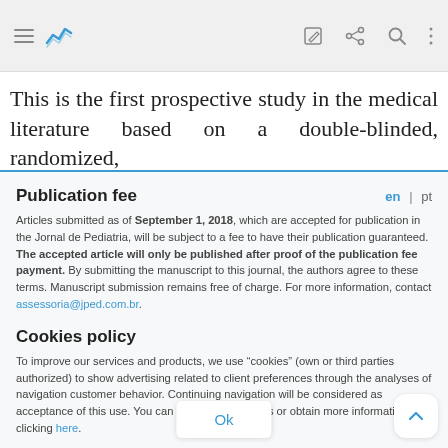[Navigation bar with hamburger menu, logo, edit icon, share icon, search icon, more icon]
This is the first prospective study in the medical literature based on a double-blinded, randomized,
Publication fee
en | pt
Articles submitted as of September 1, 2018, which are accepted for publication in the Jornal de Pediatria, will be subject to a fee to have their publication guaranteed. The accepted article will only be published after proof of the publication fee payment. By submitting the manuscript to this journal, the authors agree to these terms. Manuscript submission remains free of charge. For more information, contact assessoria@jped.com.br.
Cookies policy
To improve our services and products, we use "cookies" (own or third parties authorized) to show advertising related to client preferences through the analyses of navigation customer behavior. Continuing navigation will be considered as acceptance of this use. You can change the settings or obtain more information by clicking here.